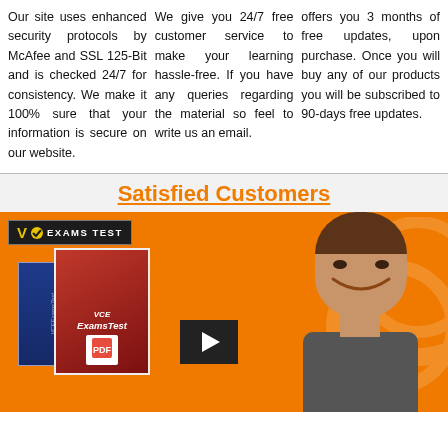Our site uses enhanced security protocols by McAfee and SSL 125-Bit and is checked 24/7 for consistency. We make it 100% sure that your information is secure on our website.
We give you 24/7 free customer service to make your learning hassle-free. If you have any queries regarding the material so feel to write us an email.
offers you 3 months of free updates, upon purchase. Once you will buy any of our products you will be subscribed to 90-days free updates.
Satisfied Customers
[Figure (photo): VCE Exams Test banner with orange background, logo in top-left, product boxes on left, video play button in center, and smiling man on right]